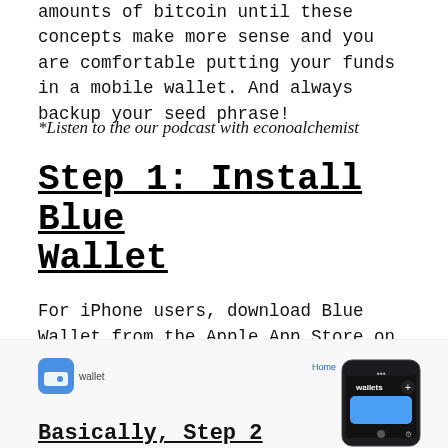amounts of bitcoin until these concepts make more sense and you are comfortable putting your funds in a mobile wallet. And always backup your seed phrase!
*Listen to the our podcast with econoalchemist
Step 1: Install Blue Wallet
For iPhone users, download Blue Wallet from the Apple App Store on your mobile device. Check Blue Wallet’s website for more details.
[Figure (screenshot): Blue Wallet website screenshot showing logo, navigation links (Home, Features, Support), and a phone mockup displaying the wallets screen of the Blue Wallet app.]